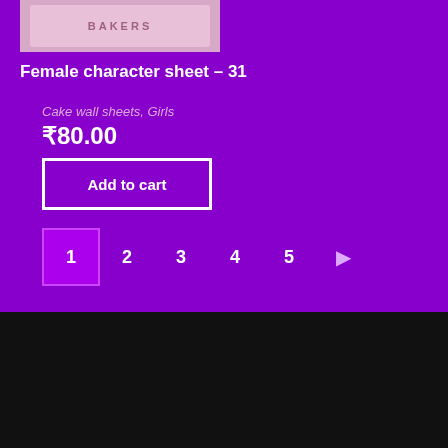[Figure (photo): Product image of Female character sheet - 31, a cake wall sheet showing illustrated girls figures]
Female character sheet – 31
Cake wall sheets, Girls
₹80.00
Add to cart
1 2 3 4 5 ▶
TERMS AND CONDITIONS | PRIVACY POLICY
REFUND AND CANCELLATION POLICY | DELIVERY POLICY | ABOUT US
FSSAI NO. 20719032002462